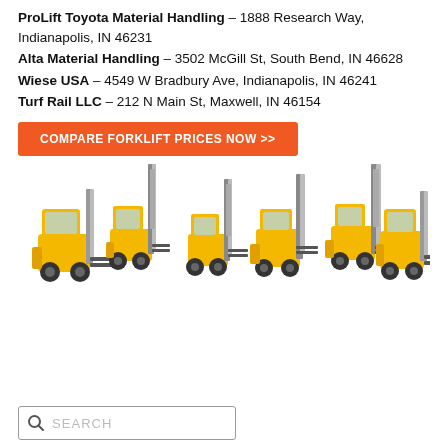ProLift Toyota Material Handling – 1888 Research Way, Indianapolis, IN 46231
Alta Material Handling – 3502 McGill St, South Bend, IN 46628
Wiese USA – 4549 W Bradbury Ave, Indianapolis, IN 46241
Turf Rail LLC – 212 N Main St, Maxwell, IN 46154
COMPARE FORKLIFT PRICES NOW >>
[Figure (photo): Six yellow forklifts and material handling equipment lined up in a row on white background]
[Figure (screenshot): Search box with magnifying glass icon and placeholder text SEARCH]